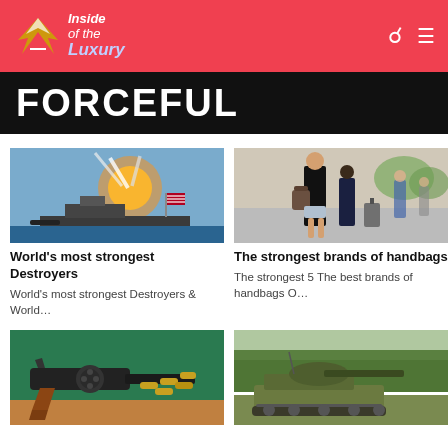Inside of the Luxury
FORCEFUL
[Figure (photo): Military destroyer ship launching missiles with smoke trails and an American flag visible]
World's most strongest Destroyers
World's most strongest Destroyers & World…
[Figure (photo): Woman in black top and denim shorts walking with handbag, other people walking behind]
The strongest brands of handbags
The strongest 5 The best brands of handbags O…
[Figure (photo): Revolver gun with bullets on green surface]
[Figure (photo): Military tank in field with trees in background]